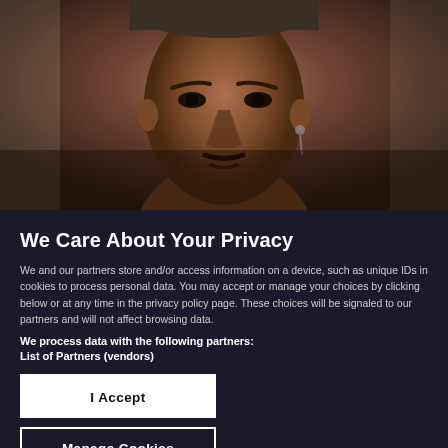[Figure (photo): Partial photo of a man's face, dark-skinned, wearing a cap, close-up, blurred background]
We Care About Your Privacy
We and our partners store and/or access information on a device, such as unique IDs in cookies to process personal data. You may accept or manage your choices by clicking below or at any time in the privacy policy page. These choices will be signaled to our partners and will not affect browsing data.
We process data with the following partners:
List of Partners (vendors)
I Accept
Manage Cookies